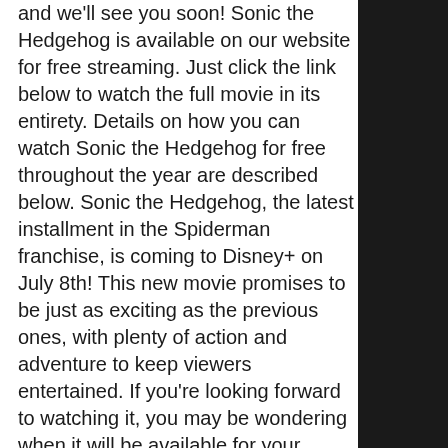and we'll see you soon! Sonic the Hedgehog is available on our website for free streaming. Just click the link below to watch the full movie in its entirety. Details on how you can watch Sonic the Hedgehog for free throughout the year are described below. Sonic the Hedgehog, the latest installment in the Spiderman franchise, is coming to Disney+ on July 8th! This new movie promises to be just as exciting as the previous ones, with plenty of action and adventure to keep viewers entertained. If you're looking forward to watching it, you may be wondering when it will be available for your Disney+ subscription. Here's an answer to that question! If you are looking for a way to download Sonic the Hedgehog full movie or watch it online, we recommend legal methods. You can purchase the film on official online stores or streaming websites. Watching a movie is always a good idea, especially if it is good